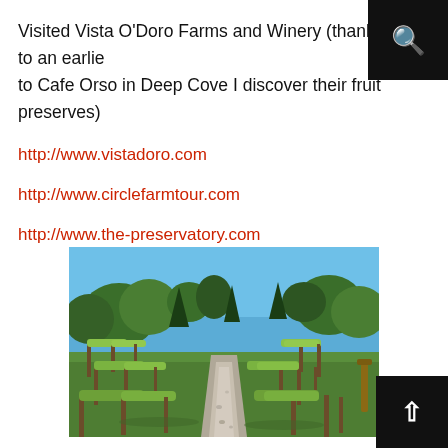Visited Vista O'Doro Farms and Winery (thanks to an earlier visit to Cafe Orso in Deep Cove I discover their fruit preserves)
http://www.vistadoro.com
http://www.circlefarmtour.com
http://www.the-preservatory.com
[Figure (photo): A path through a vineyard with wooden posts supporting grapevines on both sides, green grass, trees in the background, and a blue sky above.]